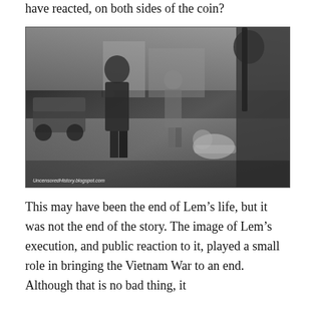have reacted, on both sides of the coin?
[Figure (photo): Black and white photograph showing soldiers on a street scene during the Vietnam War. A soldier walks carrying something while another figure lies on the ground. A second soldier stands to the right with a rifle. A jeep and additional soldiers are visible in the background on a city street.]
UncensoredHistory.blogspot.com
This may have been the end of Lem’s life, but it was not the end of the story. The image of Lem’s execution, and public reaction to it, played a small role in bringing the Vietnam War to an end. Although that is no bad thing, it